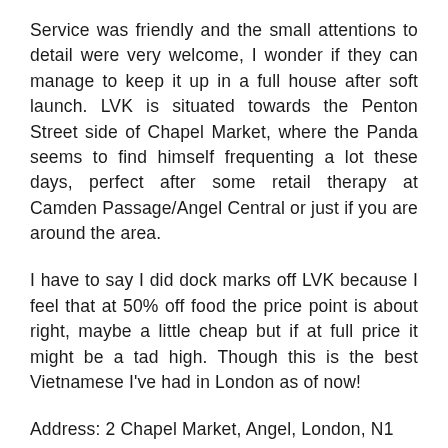Service was friendly and the small attentions to detail were very welcome, I wonder if they can manage to keep it up in a full house after soft launch. LVK is situated towards the Penton Street side of Chapel Market, where the Panda seems to find himself frequenting a lot these days, perfect after some retail therapy at Camden Passage/Angel Central or just if you are around the area.
I have to say I did dock marks off LVK because I feel that at 50% off food the price point is about right, maybe a little cheap but if at full price it might be a tad high. Though this is the best Vietnamese I've had in London as of now!
Address: 2 Chapel Market, Angel, London, N1 9EZ